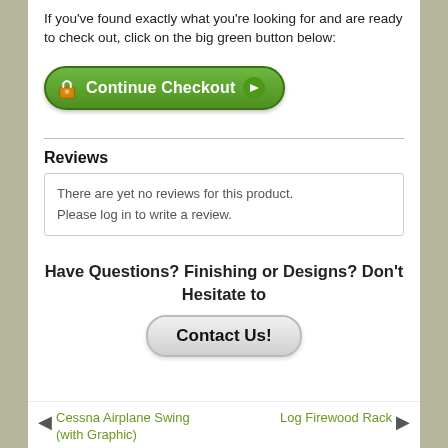If you've found exactly what you're looking for and are ready to check out, click on the big green button below:
[Figure (screenshot): Green 'Continue Checkout' button with lock icon and arrow]
Reviews
There are yet no reviews for this product.
Please log in to write a review.
Have Questions? Finishing or Designs? Don't Hesitate to
[Figure (screenshot): Gray 'Contact Us!' button]
◄  Cessna Airplane Swing (with Graphic)        Log Firewood Rack  ►